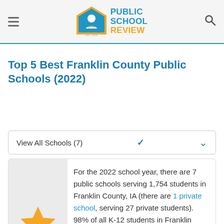Public School Review — EST. 2003
Top 5 Best Franklin County Public Schools (2022)
View All Schools (7)
For the 2022 school year, there are 7 public schools serving 1,754 students in Franklin County, IA (there are 1 private school, serving 27 private students). 98% of all K-12 students in Franklin County, IA